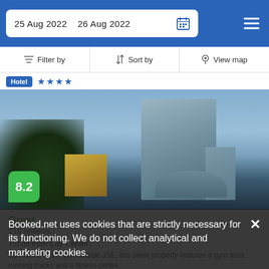25 Aug 2022   26 Aug 2022
Filter by   Sort by   View map
Hotel ★★★★
[Figure (photo): Hotel building exterior photo at dusk showing a tall modern glass tower with surrounding buildings and trees]
8.2
Great
219 reviews
7.0 mi from City Center
Booked.net uses cookies that are strictly necessary for its functioning. We do not collect analytical and marketing cookies.